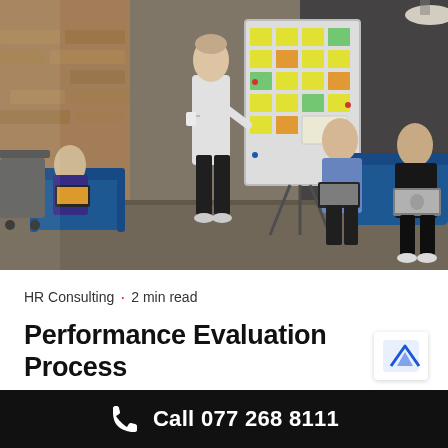[Figure (photo): Office meeting scene: a man standing presents at a whiteboard covered with sticky notes, while three others sit on blue sofas with laptops listening. Brick walls and industrial interior.]
HR Consulting · 2 min read
Performance Evaluation Process
Call 077 268 8111